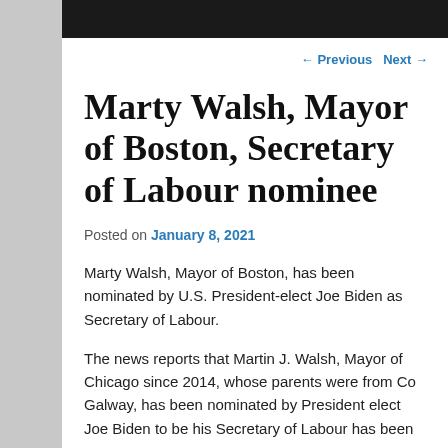← Previous   Next →
Marty Walsh, Mayor of Boston, Secretary of Labour nominee
Posted on January 8, 2021
Marty Walsh, Mayor of Boston, has been nominated by U.S. President-elect Joe Biden as Secretary of Labour.
The news reports that Martin J. Walsh, Mayor of Chicago since 2014, whose parents were from Co Galway, has been nominated by President elect Joe Biden to be his Secretary of Labour has been